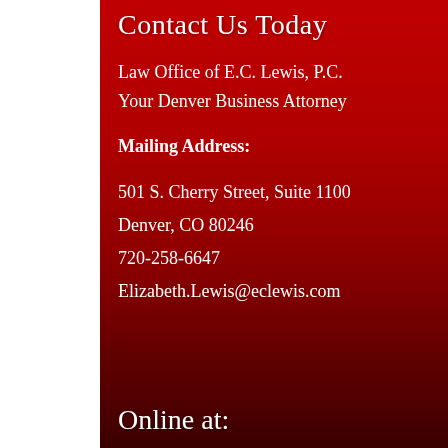Contact Us Today
Law Office of E.C. Lewis, P.C.
Your Denver Business Attorney
Mailing Address:
501 S. Cherry Street, Suite 1100
Denver, CO 80246
720-258-6647
Elizabeth.Lewis@eclewis.com
Online at: